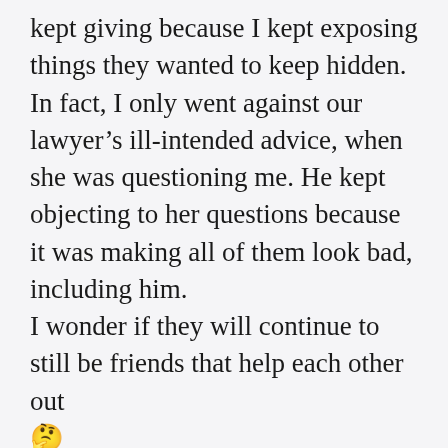kept giving because I kept exposing things they wanted to keep hidden. In fact, I only went against our lawyer's ill-intended advice, when she was questioning me. He kept objecting to her questions because it was making all of them look bad, including him.
I wonder if they will continue to still be friends that help each other out 🤔

Don't give up. In our case, they are the ones who had a lot to hide. My